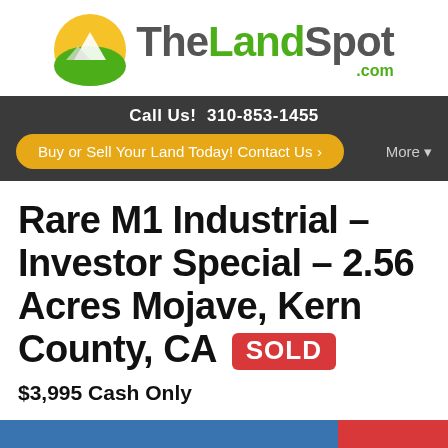[Figure (logo): TheLandSpot.com logo with circular mountain/sun icon and green/gray text]
Call Us! 310-853-1455
Buy or Sell Your Land Today! Contact Us ›
More ▾
Rare M1 Industrial – Investor Special – 2.56 Acres Mojave, Kern County, CA SOLD
$3,995 Cash Only